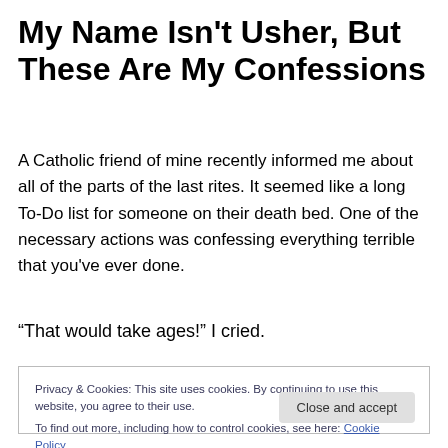My Name Isn't Usher, But These Are My Confessions
A Catholic friend of mine recently informed me about all of the parts of the last rites. It seemed like a long To-Do list for someone on their death bed. One of the necessary actions was confessing everything terrible that you've ever done.
“That would take ages!” I cried.
Privacy & Cookies: This site uses cookies. By continuing to use this website, you agree to their use.
To find out more, including how to control cookies, see here: Cookie Policy